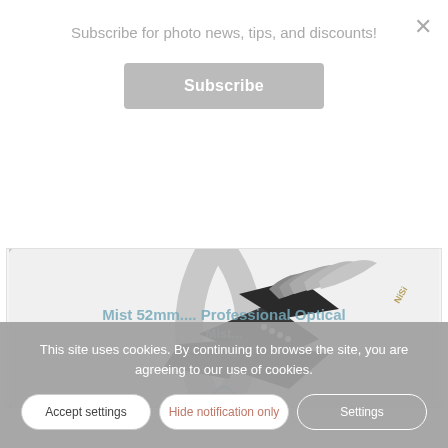Subscribe for photo news, tips, and discounts!
Subscribe
[Figure (photo): A dark butterfly ornament overlaid on a circular camera lens filter ring (NiSi brand), shown on a white background.]
This site uses cookies. By continuing to browse the site, you are agreeing to our use of cookies.
Accept settings
Hide notification only
Settings